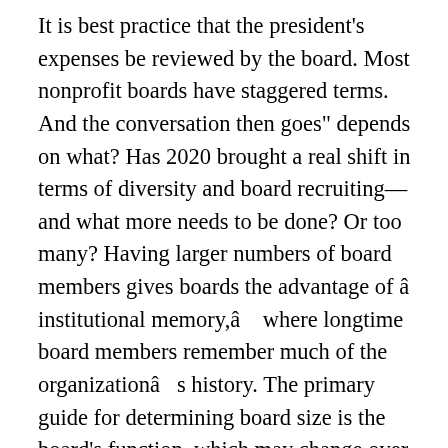It is best practice that the president's expenses be reviewed by the board. Most nonprofit boards have staggered terms. And the conversation then goes" depends on what? Has 2020 brought a real shift in terms of diversity and board recruiting—and what more needs to be done? Or too many? Having larger numbers of board members gives boards the advantage of â institutional memory,â where longtime board members remember much of the organizationâs history. The primary guide for determining board size is the board's function, which may change over time. As board membersâ terms end, the idea is to not replace them with new directors. The United States Chess Federation (USCF) states that